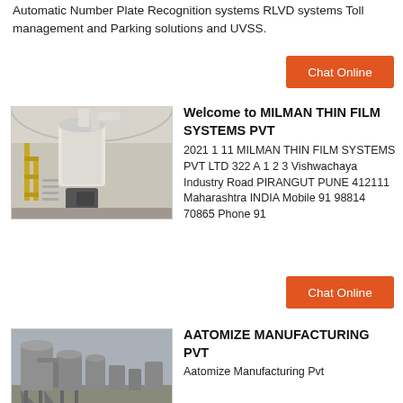Automatic Number Plate Recognition systems RLVD systems Toll management and Parking solutions and UVSS.
[Figure (other): Button: Chat Online on orange background]
[Figure (photo): Industrial machinery - large vertical mill or grinder with yellow metal structures and pipes in a factory or industrial setting]
Welcome to MILMAN THIN FILM SYSTEMS PVT
2021 1 11 MILMAN THIN FILM SYSTEMS PVT LTD 322 A 1 2 3 Vishwachaya Industry Road PIRANGUT PUNE 412111 Maharashtra INDIA Mobile 91 98814 70865 Phone 91
[Figure (other): Button: Chat Online on orange background]
[Figure (photo): Industrial silos and dust collection equipment outdoors, grey metallic structures]
AATOMIZE MANUFACTURING PVT
Aatomize Manufacturing Pvt